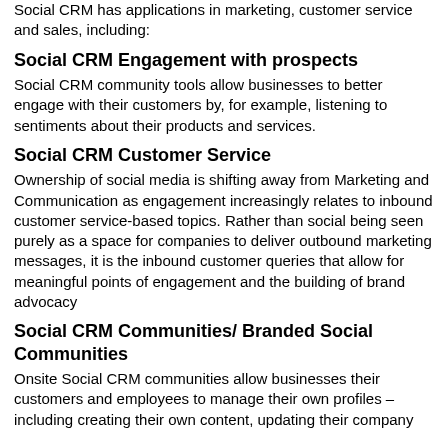Social CRM has applications in marketing, customer service and sales, including:
Social CRM Engagement with prospects
Social CRM community tools allow businesses to better engage with their customers by, for example, listening to sentiments about their products and services.
Social CRM Customer Service
Ownership of social media is shifting away from Marketing and Communication as engagement increasingly relates to inbound customer service-based topics. Rather than social being seen purely as a space for companies to deliver outbound marketing messages, it is the inbound customer queries that allow for meaningful points of engagement and the building of brand advocacy
Social CRM Communities/ Branded Social Communities
Onsite Social CRM communities allow businesses their customers and employees to manage their own profiles – including creating their own content, updating their company